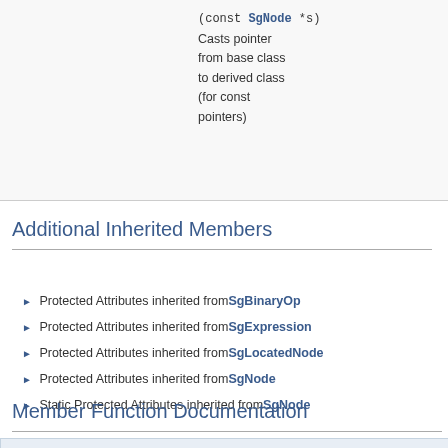|  |  |
| --- | --- |
| (const SgNode *s) | Casts pointer from base class to derived class (for const pointers) |
Additional Inherited Members
Protected Attributes inherited from SgBinaryOp
Protected Attributes inherited from SgExpression
Protected Attributes inherited from SgLocatedNode
Protected Attributes inherited from SgNode
Static Protected Attributes inherited from SgNode
Member Function Documentation